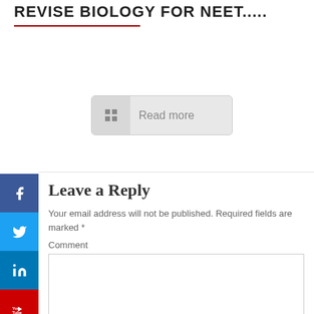REVISE BIOLOGY FOR NEET.....
[Figure (screenshot): Read more button with grid icon]
Leave a Reply
Your email address will not be published. Required fields are marked *
Comment
Name *